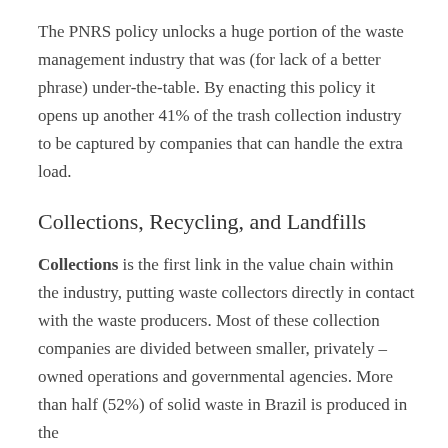The PNRS policy unlocks a huge portion of the waste management industry that was (for lack of a better phrase) under-the-table. By enacting this policy it opens up another 41% of the trash collection industry to be captured by companies that can handle the extra load.
Collections, Recycling, and Landfills
Collections is the first link in the value chain within the industry, putting waste collectors directly in contact with the waste producers. Most of these collection companies are divided between smaller, privately – owned operations and governmental agencies. More than half (52%) of solid waste in Brazil is produced in the